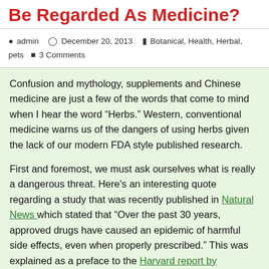Be Regarded As Medicine?
admin   December 20, 2013   Botanical, Health, Herbal, pets   3 Comments
Confusion and mythology, supplements and Chinese medicine are just a few of the words that come to mind when I hear the word “Herbs.” Western, conventional medicine warns us of the dangers of using herbs given the lack of our modern FDA style published research.
First and foremost, we must ask ourselves what is really a dangerous threat. Here's an interesting quote regarding a study that was recently published in Natural News which stated that “Over the past 30 years, approved drugs have caused an epidemic of harmful side effects, even when properly prescribed.” This was explained as a preface to the Harvard report by Professor Donald W. Light, who stated that “Every week, about 53,000 excess hospitalizations and about